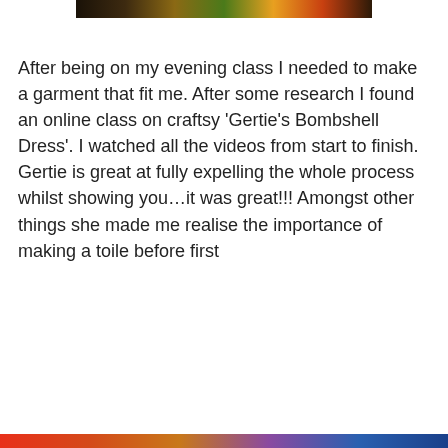[Figure (photo): Partial photo visible at top of page, dark/colorful image cropped]
After being on my evening class I needed to make a garment that fit me. After some research I found an online class on craftsy ‘Gertie’s Bombshell Dress’. I watched all the videos from start to finish.  Gertie is great at fully expelling the whole process whilst showing you…it was great!!! Amongst other things she made me realise the importance of making a toile before first...
Privacy & Cookies: This site uses cookies. By continuing to use this website, you agree to their use.
To find out more, including how to control cookies, see here: Cookie Policy
[Figure (photo): Colorful banner/image at the bottom of the page]